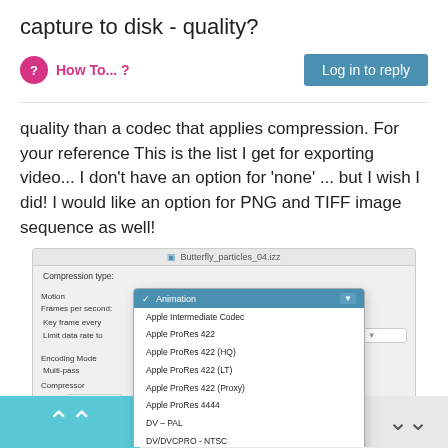capture to disk - quality?
How To... ?
Log in to reply
quality than a codec that applies compression. For your reference This is the list I get for exporting video... I don't have an option for 'none' ... but I wish I did! I would like an option for PNG and TIFF image sequence as well!
[Figure (screenshot): macOS video export dialog showing compression type dropdown with options including Animation (selected, highlighted in blue), Apple Intermediate Codec, Apple ProRes 422, Apple ProRes 422 (HQ), Apple ProRes 422 (LT), Apple ProRes 422 (Proxy), Apple ProRes 4444, DV - PAL, DV/DVCPRO - NTSC, DVCPRO - PAL, DVCPRO50 - NTSC, DVCPRO50 - PAL, H.264, Hap, Hap Alpha, Hap Q, Hap Q Alpha, MPEG-4 Video, Photo - JPEG]
5 out of 12